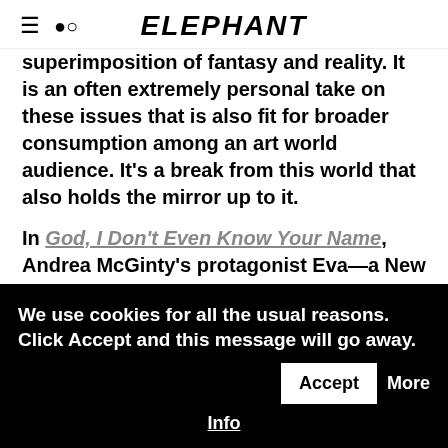ELEPHANT
superimposition of fantasy and reality. It is an often extremely personal take on these issues that is also fit for broader consumption among an art world audience. It’s a break from this world that also holds the mirror up to it.
In God, I Don’t Even Know Your Name, Andrea McGinty’s protagonist Eva—a New York-based artist who elopes to Europe to find cultural salvation and detoxify her system—ends up cycling through one hook-up after another using Bangly
We use cookies for all the usual reasons. Click Accept and this message will go away.
Accept
More Info